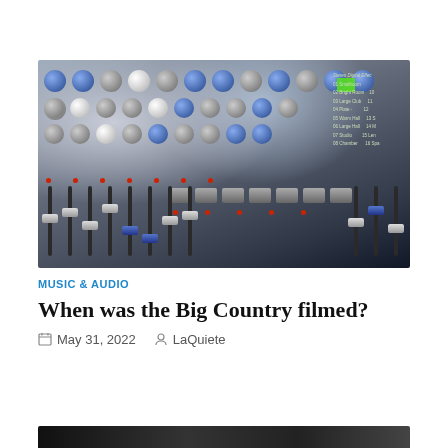[Figure (photo): Close-up photograph of an audio mixing board/console with blue and gray knobs, gray fader sliders, square buttons, and red indicator lights on a dark gray surface]
MUSIC & AUDIO
When was the Big Country filmed?
May 31, 2022   LaQuiete